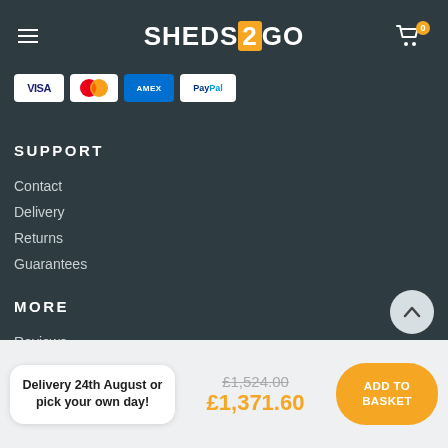SHEDS2GO
[Figure (logo): Payment method icons: VISA, Mastercard, American Express, PayPal]
SUPPORT
Contact
Delivery
Returns
Guarantees
MORE
Reviews
Terms & Conditions
Delivery 24th August or pick your own day!
£1,524.00
£1,371.60
ADD TO BASKET